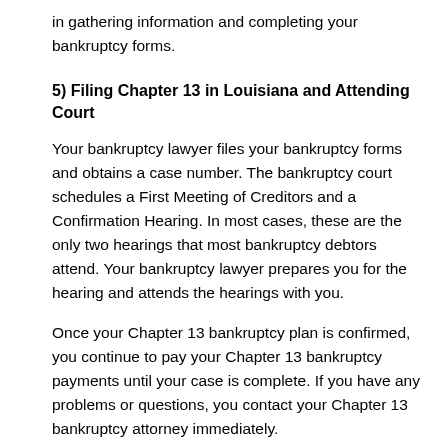in gathering information and completing your bankruptcy forms.
5) Filing Chapter 13 in Louisiana and Attending Court
Your bankruptcy lawyer files your bankruptcy forms and obtains a case number. The bankruptcy court schedules a First Meeting of Creditors and a Confirmation Hearing. In most cases, these are the only two hearings that most bankruptcy debtors attend. Your bankruptcy lawyer prepares you for the hearing and attends the hearings with you.
Once your Chapter 13 bankruptcy plan is confirmed, you continue to pay your Chapter 13 bankruptcy payments until your case is complete. If you have any problems or questions, you contact your Chapter 13 bankruptcy attorney immediately.